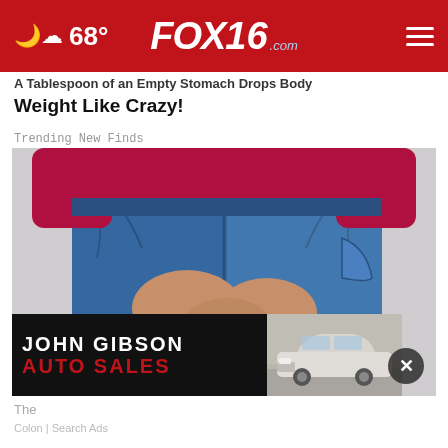FOX16.com — 68°
Weight Like Crazy!
Trending New Finds
[Figure (photo): Woman in red long-sleeve shirt and blue jeans viewed from behind, hands clasped behind her back over her lower body]
[Figure (other): John Gibson Auto Sales advertisement banner with car image on right]
The
Colon | Search Ads